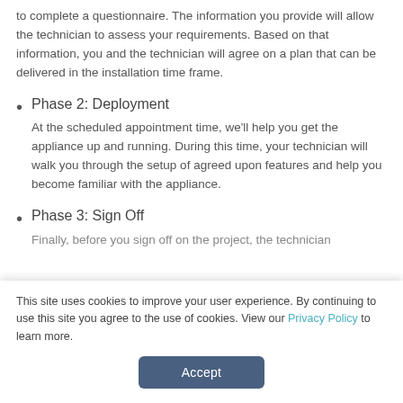to complete a questionnaire. The information you provide will allow the technician to assess your requirements. Based on that information, you and the technician will agree on a plan that can be delivered in the installation time frame.
Phase 2: Deployment
At the scheduled appointment time, we'll help you get the appliance up and running. During this time, your technician will walk you through the setup of agreed upon features and help you become familiar with the appliance.
Phase 3: Sign Off
Finally, before you sign off on the project, the technician
This site uses cookies to improve your user experience. By continuing to use this site you agree to the use of cookies. View our Privacy Policy to learn more.
Accept